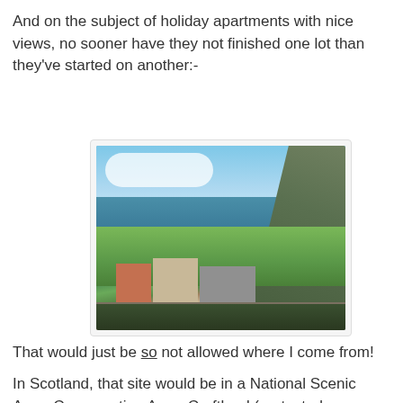And on the subject of holiday apartments with nice views, no sooner have they not finished one lot than they've started on another:-
[Figure (photo): Photograph of a construction site with stone buildings being built on a hillside overlooking the sea. Green terraced slopes and a large hill visible on the right, blue sky with clouds above.]
That would just be so not allowed where I come from!
In Scotland, that site would be in a National Scenic Area, Conservation Area, Croftland (protected agricultural smallholdings), Site of Special Scientific Interest, Ramsar Site (did you know that Ramsar, as in "site", is not an